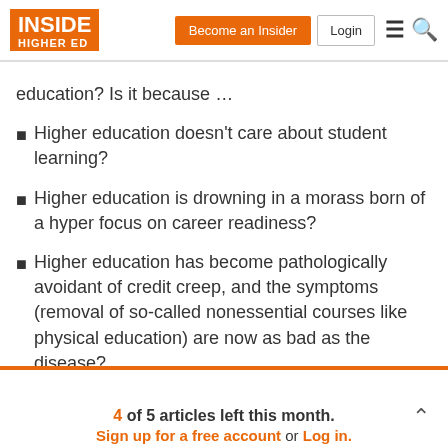INSIDE HIGHER ED | Become an Insider | Login
education? Is it because …
Higher education doesn't care about student learning?
Higher education is drowning in a morass born of a hyper focus on career readiness?
Higher education has become pathologically avoidant of credit creep, and the symptoms (removal of so-called nonessential courses like physical education) are now as bad as the disease?
4 of 5 articles left this month. Sign up for a free account or Log in.